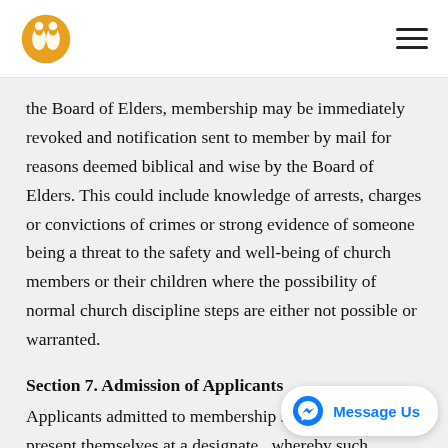[Church logo] [Hamburger menu]
the Board of Elders, membership may be immediately revoked and notification sent to member by mail for reasons deemed biblical and wise by the Board of Elders. This could include knowledge of arrests, charges or convictions of crimes or strong evidence of someone being a threat to the safety and well-being of church members or their children where the possibility of normal church discipline steps are either not possible or warranted.
Section 7. Admission of Applicants
Applicants admitted to membership shall, if possible, present themselves at a designate[d] whereby such applicants shall publicly affirm their faith